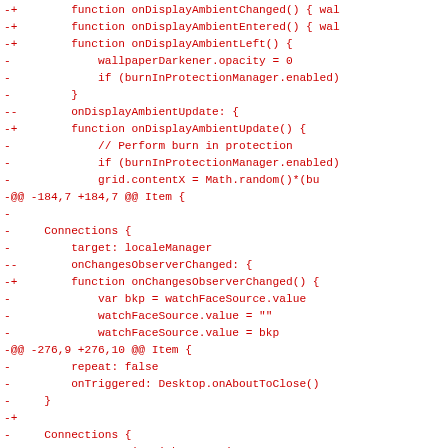[Figure (screenshot): A diff/patch view showing removed lines (prefixed with - or --) and changed lines (prefixed with -+) from what appears to be a QML or JavaScript source file. All text is rendered in red monospace font on white background. The diff shows changes related to display ambient functions, burn-in protection, locale manager connections, watch face source handling, and Lipstick compositor display-off handling.]